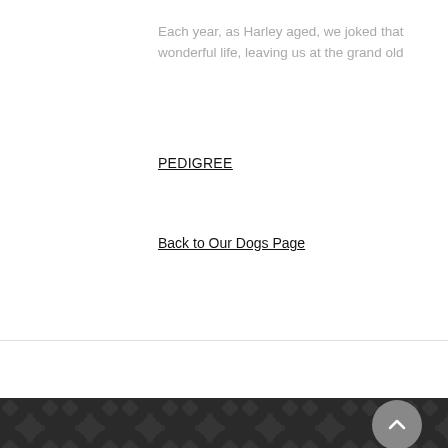Each year, as Harley aged, we joked that wonderful life, leaving us at the grand old
PEDIGREE
Back to Our Dogs Page
[Figure (illustration): Dark footer with damask floral pattern background and a circular scroll-to-top button with upward chevron arrow on the right side]